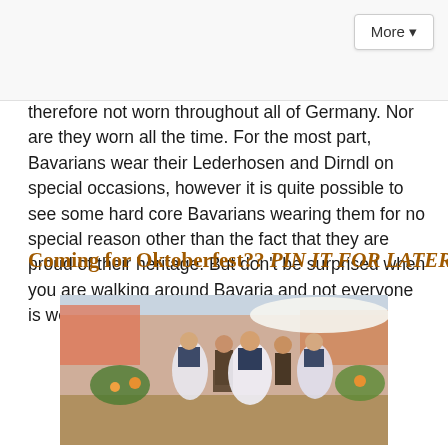therefore not worn throughout all of Germany. Nor are they worn all the time. For the most part, Bavarians wear their Lederhosen and Dirndl on special occasions, however it is quite possible to see some hard core Bavarians wearing them for no special reason other than the fact that they are proud of their heritage. But don't be surprised when you are walking around Bavaria and not everyone is wearing them.
Coming for Oktoberfest?? PIN IT FOR LATER!!
[Figure (photo): People in traditional Bavarian costumes (Lederhosen and Dirndl) dancing or walking at what appears to be an outdoor festival or market setting]